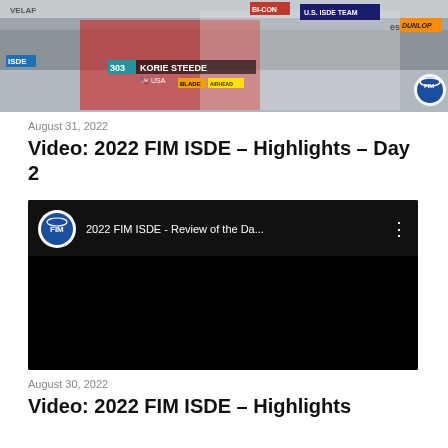[Figure (photo): Photo of KORIE STEEDE (#303, USA) at 2022 FIM ISDE event with US ISDE Team branding, sponsors including BI-CON, Dunlop, and Esio visible in background]
August 31, 2022
Video: 2022 FIM ISDE – Highlights – Day 2
[Figure (screenshot): YouTube video embed showing '2022 FIM ISDE - Review of the Da...' with FIM logo circle avatar, dark/black video player area]
August 30, 2022
Video: 2022 FIM ISDE – Highlights